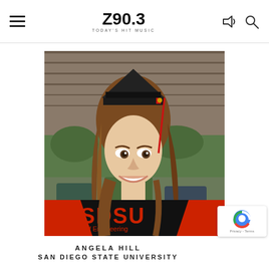Z90.3 TODAY'S HIT MUSIC
[Figure (photo): Young woman in SDSU graduation cap and gown (black cap with red tassel, red sash) wearing a black SDSU College of Engineering t-shirt, smiling, with long brown hair, posed outdoors in front of a wooden wall and graffiti background.]
ANGELA HILL
SAN DIEGO STATE UNIVERSITY